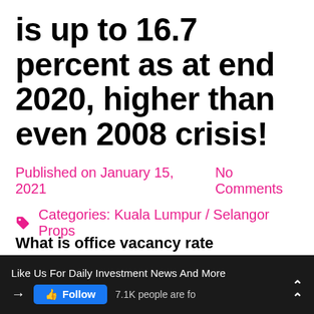Office vacancy rate is up to 16.7 percent as at end 2020, higher than even 2008 crisis!
Published on January 15, 2021   No Comments
Categories: Kuala Lumpur / Selangor Props
What is office vacancy rate
Like Us For Daily Investment News And More  →  Follow  7.1K people are fo